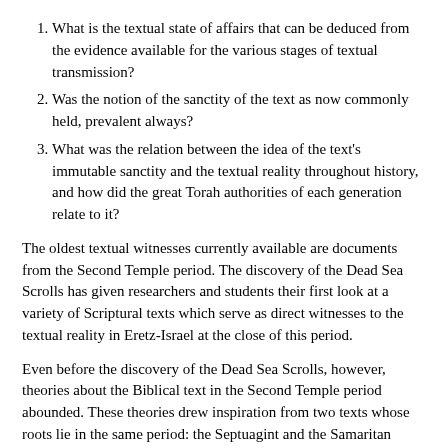What is the textual state of affairs that can be deduced from the evidence available for the various stages of textual transmission?
Was the notion of the sanctity of the text as now commonly held, prevalent always?
What was the relation between the idea of the text's immutable sanctity and the textual reality throughout history, and how did the great Torah authorities of each generation relate to it?
The oldest textual witnesses currently available are documents from the Second Temple period. The discovery of the Dead Sea Scrolls has given researchers and students their first look at a variety of Scriptural texts which serve as direct witnesses to the textual reality in Eretz-Israel at the close of this period.
Even before the discovery of the Dead Sea Scrolls, however, theories about the Biblical text in the Second Temple period abounded. These theories drew inspiration from two texts whose roots lie in the same period: the Septuagint and the Samaritan version of the Bible. The Septuagint Vorlage (the presumed underlying Hebrew text) differs from the Masoretic Text [the received Hebrew text, the Authorized Text, the Jewish Bible, abbreviated MT] in many aspects, several of them of great significance. We cannot determine the exact Vorlage of the